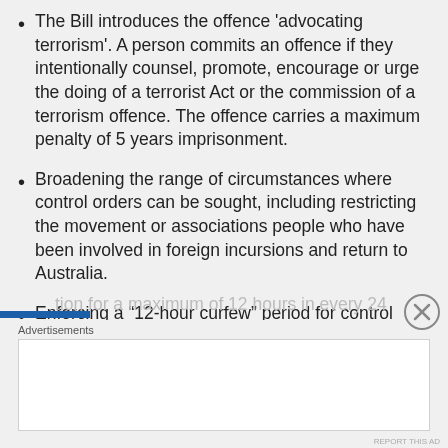The Bill introduces the offence 'advocating terrorism'. A person commits an offence if they intentionally counsel, promote, encourage or urge the doing of a terrorist Act or the commission of a terrorism offence. The offence carries a maximum penalty of 5 years imprisonment.
Broadening the range of circumstances where control orders can be sought, including restricting the movement or associations people who have been involved in foreign incursions and return to Australia.
Enforcing a “12-hour curfew” period for control orders that can force people to stay in a given [location for a maximum of 12 hours in every 24]
Advertisements